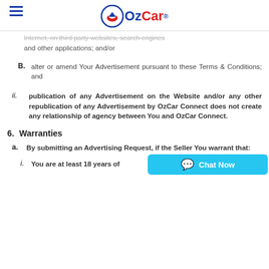OzCar
Internet, on third party websites, search engines and other applications; and/or
B. alter or amend Your Advertisement pursuant to these Terms & Conditions; and
ii. publication of any Advertisement on the Website and/or any other republication of any Advertisement by OzCar Connect does not create any relationship of agency between You and OzCar Connect.
6. Warranties
a. By submitting an Advertising Request, if the Seller You warrant that:
i. You are at least 18 years of